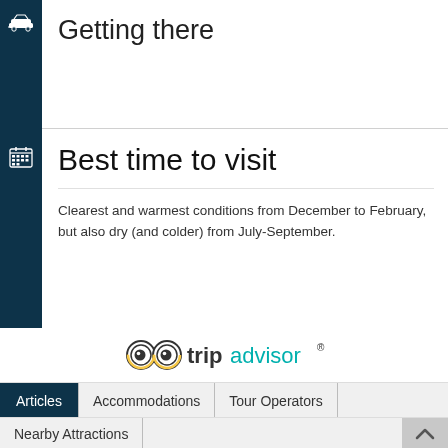Getting there
Best time to visit
Clearest and warmest conditions from December to February, but also dry (and colder) from July-September.
[Figure (logo): TripAdvisor logo with owl eyes icon and tripadvisor text]
Articles | Accommodations | Tour Operators
Nearby Attractions